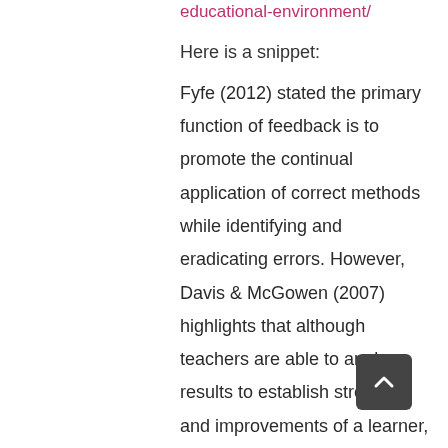educational-environment/
Here is a snippet:
Fyfe (2012) stated the primary function of feedback is to promote the continual application of correct methods while identifying and eradicating errors. However, Davis & McGowen (2007) highlights that although teachers are able to analyse results to establish strengths and improvements of a learner, teachers don't always incorporate